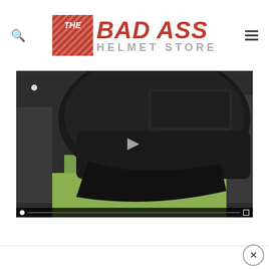[Figure (logo): The Bad Ass Helmet Store logo with red checkered rectangle icon and red/gray text]
[Figure (screenshot): Video thumbnail showing a person wearing a black motorcycle helmet, viewed from the side, in a store setting. Person wearing a green/yellow shirt. Video player controls visible at bottom.]